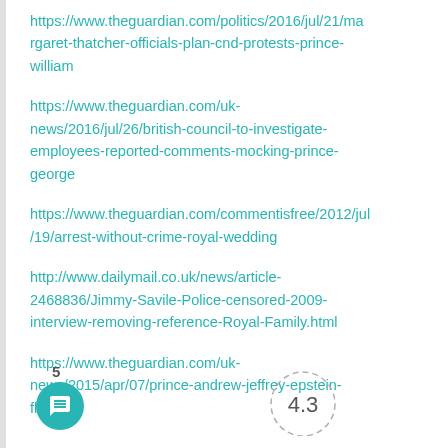https://www.theguardian.com/politics/2016/jul/21/margaret-thatcher-officials-plan-cnd-protests-prince-william
https://www.theguardian.com/uk-news/2016/jul/26/british-council-to-investigate-employees-reported-comments-mocking-prince-george
https://www.theguardian.com/commentisfree/2012/jul/19/arrest-without-crime-royal-wedding
http://www.dailymail.co.uk/news/article-2468836/Jimmy-Savile-Police-censored-2009-interview-removing-reference-Royal-Family.html
https://www.theguardian.com/uk-news/2015/apr/07/prince-andrew-jeffrey-epstein-florida
5
4.3